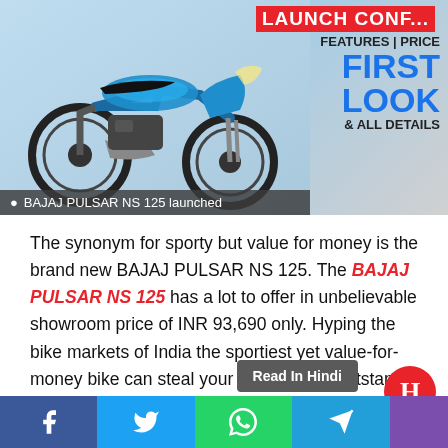[Figure (photo): Bajaj Pulsar NS 125 motorcycle in blue color with launch confirmed banner showing Features, Price, First Look and All Details text]
BAJAJ PULSAR NS 125 launched
The synonym for sporty but value for money is the brand new BAJAJ PULSAR NS 125. The BAJAJ PULSAR NS 125 has a lot to offer in unbelievable showroom price of INR 93,690 only. Hyping the bike markets of India the sportiest yet value-for-money bike can steal your heart in four outstanding colors in one variant which are Beach blue, Fiery Orange, Burnt red, and Pewter Grey. Along with the glamorous color choice